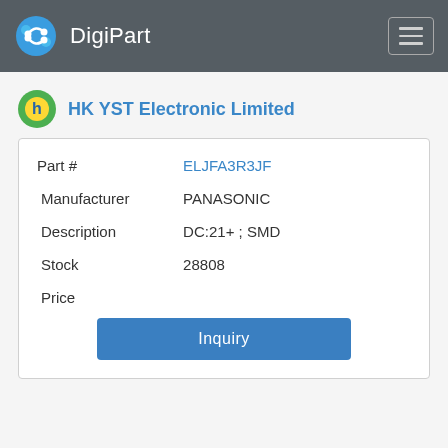DigiPart
HK YST Electronic Limited
| Field | Value |
| --- | --- |
| Part # | ELJFA3R3JF |
| Manufacturer | PANASONIC |
| Description | DC:21+ ; SMD |
| Stock | 28808 |
| Price |  |